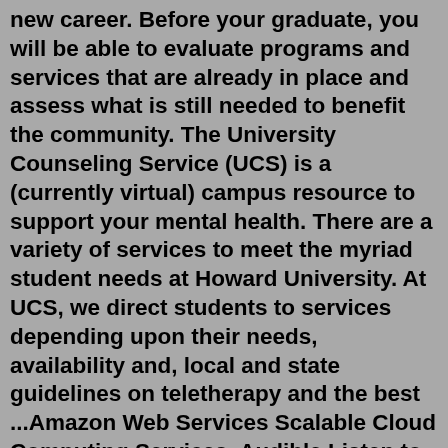new career. Before your graduate, you will be able to evaluate programs and services that are already in place and assess what is still needed to benefit the community. The University Counseling Service (UCS) is a (currently virtual) campus resource to support your mental health. There are a variety of services to meet the myriad student needs at Howard University. At UCS, we direct students to services depending upon their needs, availability and, local and state guidelines on teletherapy and the best ...Amazon Web Services Scalable Cloud Computing Services. Audible Listen to Books & Original Audio Performances. Book Depository Books With Free Delivery Worldwide.Careers | CortevaFor timetable and booking please call the MÁVDIREKT Customer Service: Telephone: +36 (1) 3 49 49 49HHS Careers. U.S. Department of Health & Human Services.The Center for Career Services offers a variety of programs and information to assist students and alumni with setting career goals and seeking employment. Your Path to Success. Choosing a career...